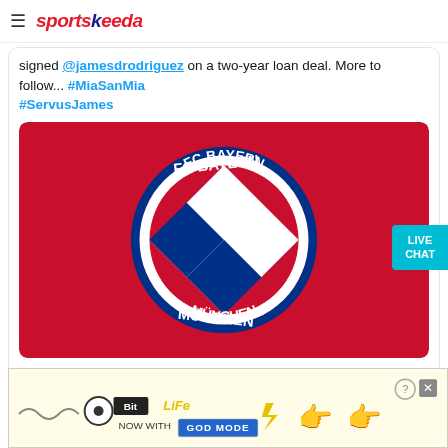sportskeeda
signed @jamesdrodriguez on a two-year loan deal. More to follow... #MiaSanMia #ServusJames
[Figure (illustration): FC Bayern München logo/crest on a red background]
11:30 AM · Jul 11, 2017
15.4K  Reply  C.
Read 602 replies
[Figure (screenshot): BitLife advertisement banner — 'NOW WITH GOD MODE']